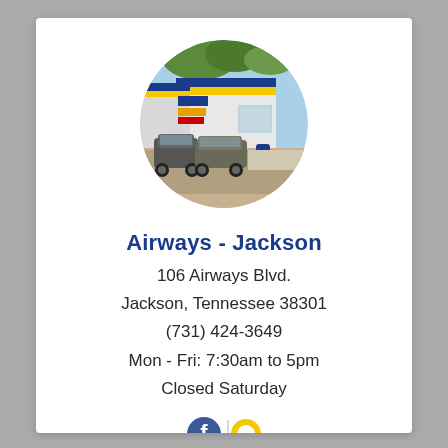[Figure (photo): Circular cropped photo of an automotive/tire service shop building with blue and yellow stripe, parked SUVs in front, and trees in background]
Airways - Jackson
106 Airways Blvd.
Jackson, Tennessee 38301
(731) 424-3649
Mon - Fri: 7:30am to 5pm
Closed Saturday
[Figure (logo): Partial social media icons — Facebook and another icon (possibly Google or Yelp) visible at bottom of card]